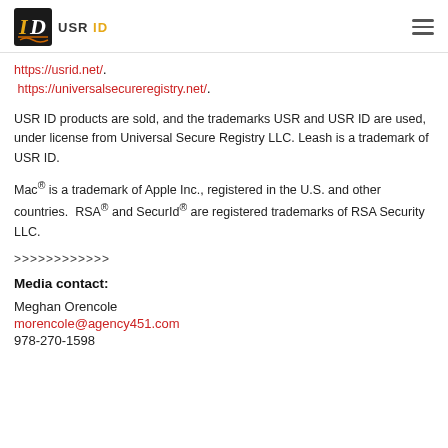USR ID
https://usrid.net/. https://universalsecureregistry.net/.
USR ID products are sold, and the trademarks USR and USR ID are used, under license from Universal Secure Registry LLC. Leash is a trademark of USR ID.
Mac® is a trademark of Apple Inc., registered in the U.S. and other countries. RSA® and SecurId® are registered trademarks of RSA Security LLC.
>>>>>>>>>>>>
Media contact:
Meghan Orencole
morencole@agency451.com
978-270-1598